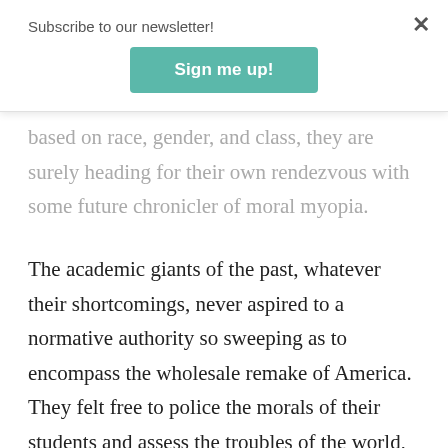Subscribe to our newsletter!
Sign me up!
based on race, gender, and class, they are surely heading for their own rendezvous with some future chronicler of moral myopia.
The academic giants of the past, whatever their shortcomings, never aspired to a normative authority so sweeping as to encompass the wholesale remake of America. They felt free to police the morals of their students and assess the troubles of the world, but from a perspective that was basically conventional. Their aims were